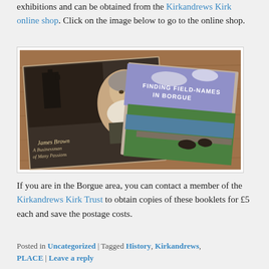exhibitions and can be obtained from the Kirkandrews Kirk online shop. Click on the image below to go to the online shop.
[Figure (photo): Photo of two booklets on a wooden surface: 'James Brown A Businessman of Many Passions' and 'Finding Field-Names in Borgue']
If you are in the Borgue area, you can contact a member of the Kirkandrews Kirk Trust to obtain copies of these booklets for £5 each and save the postage costs.
Posted in Uncategorized | Tagged History, Kirkandrews, PLACE | Leave a reply